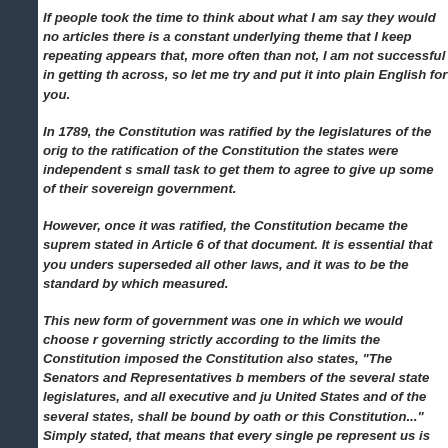If people took the time to think about what I am say they would no articles there is a constant underlying theme that I keep repeating appears that, more often than not, I am not successful in getting th across, so let me try and put it into plain English for you.
In 1789, the Constitution was ratified by the legislatures of the orig to the ratification of the Constitution the states were independent s small task to get them to agree to give up some of their sovereign government.
However, once it was ratified, the Constitution became the suprem stated in Article 6 of that document. It is essential that you unders superseded all other laws, and it was to be the standard by which measured.
This new form of government was one in which we would choose r governing strictly according to the limits the Constitution imposed the Constitution also states, "The Senators and Representatives b members of the several state legislatures, and all executive and ju United States and of the several states, shall be bound by oath or this Constitution..." Simply stated, that means that every single pe represent us is duty bound to govern according to what the Const
Article 1, Section 8 of the Constitution clearly defines the powers t